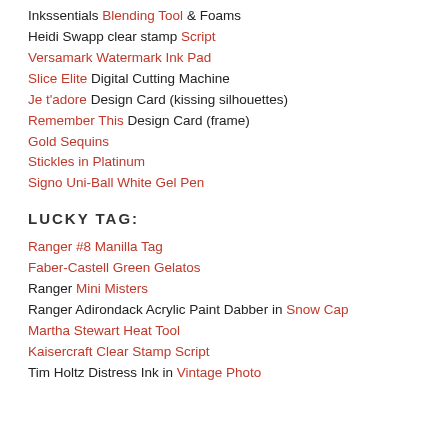Inkssentials Blending Tool & Foams
Heidi Swapp clear stamp Script
Versamark Watermark Ink Pad
Slice Elite Digital Cutting Machine
Je t'adore Design Card (kissing silhouettes)
Remember This Design Card (frame)
Gold Sequins
Stickles in Platinum
Signo Uni-Ball White Gel Pen
LUCKY TAG:
Ranger #8 Manilla Tag
Faber-Castell Green Gelatos
Ranger Mini Misters
Ranger Adirondack Acrylic Paint Dabber in Snow Cap
Martha Stewart Heat Tool
Kaisercraft Clear Stamp Script
Tim Holtz Distress Ink in Vintage Photo